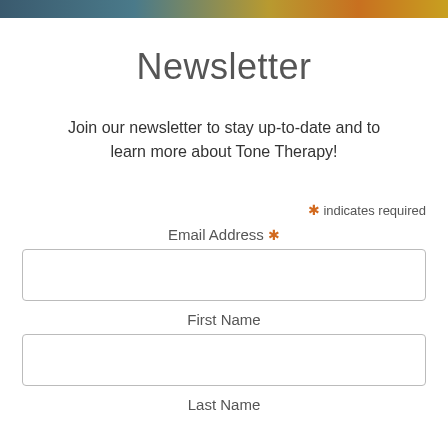Newsletter
Join our newsletter to stay up-to-date and to learn more about Tone Therapy!
* indicates required
Email Address *
First Name
Last Name